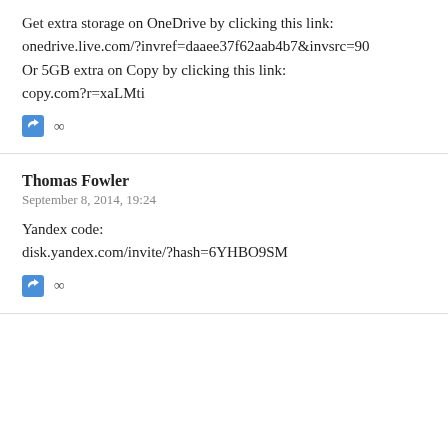Get extra storage on OneDrive by clicking this link: onedrive.live.com/?invref=daaee37f62aab4b7&invsrc=90 Or 5GB extra on Copy by clicking this link: copy.com?r=xaLMti
Thomas Fowler
September 8, 2014, 19:24
Yandex code: disk.yandex.com/invite/?hash=6YHBO9SM